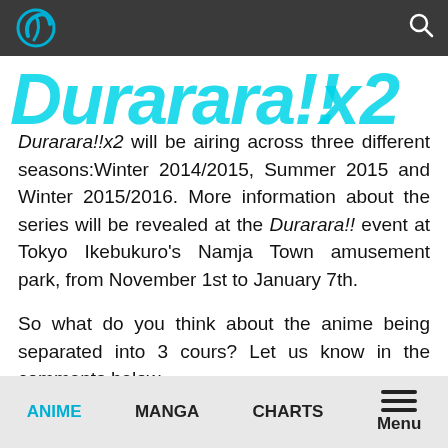[Figure (illustration): Durarara!!x2 logo/banner in cyan and white stylized text on white background]
Durarara!!x2 will be airing across three different seasons:Winter 2014/2015, Summer 2015 and Winter 2015/2016. More information about the series will be revealed at the Durarara!! event at Tokyo Ikebukuro's Namja Town amusement park, from November 1st to January 7th.
So what do you think about the anime being separated into 3 cours? Let us know in the comments below.
ANIME   MANGA   CHARTS   Menu